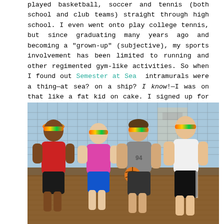played basketball, soccer and tennis (both school and club teams) straight through high school. I even went onto play college tennis, but since graduating many years ago and becoming a "grown-up" (subjective), my sports involvement has been limited to running and other regimented gym-like activities. So when I found out Semester at Sea intramurals were a thing—at sea? on a ship? I know!—I was on that like a fat kid on cake. I signed up for all of them.
[Figure (photo): Four students wearing colorful headbands pose on an outdoor basketball court on a ship deck. A man in a red shirt is on the left, a woman in a pink shirt next to him, a woman in a gray shirt holding a basketball in the center-right, and a man in a white shirt on the far right. Netting is visible in the background along with the ship's structure and sky.]